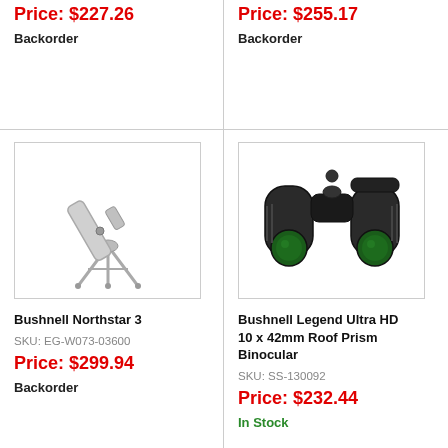Price: $227.26
Backorder
Price: $255.17
Backorder
[Figure (photo): Bushnell Northstar 3 telescope on tripod, silver/grey color]
Bushnell Northstar 3
SKU: EG-W073-03600
Price: $299.94
Backorder
[Figure (photo): Bushnell Legend Ultra HD 10 x 42mm Roof Prism Binocular, dark grey/black]
Bushnell Legend Ultra HD 10 x 42mm Roof Prism Binocular
SKU: SS-130092
Price: $232.44
In Stock